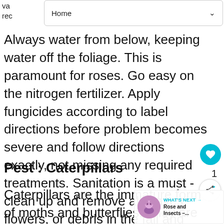[Figure (screenshot): Navigation dropdown bar showing 'Home' with a chevron arrow]
Always water from below, keeping water off the foliage. This is paramount for roses. Go easy on the nitrogen fertilizer. Apply fungicides according to label directions before problem becomes severe and follow directions exactly, not missing any required treatments. Sanitation is a must - clean up and remove all leaves, flowers, or debris in the fall and destroy.
Pest : Caterpillars
Caterpillars are the immature form of moths and butterflies. They are voracious attacking a wide variety of plants. They can be highly destructive and are characterized as leaf